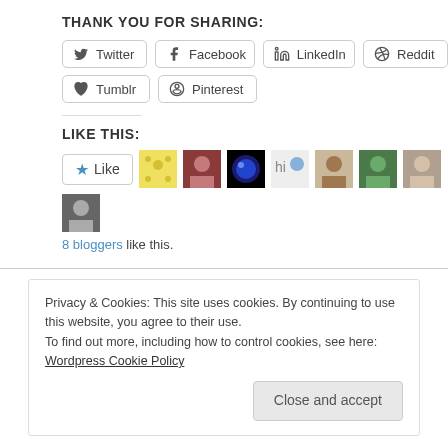Thank you for sharing:
Twitter | Facebook | LinkedIn | Reddit | Tumblr | Pinterest
Like this:
8 bloggers like this.
Privacy & Cookies: This site uses cookies. By continuing to use this website, you agree to their use.
To find out more, including how to control cookies, see here: Wordpress Cookie Policy
Close and accept